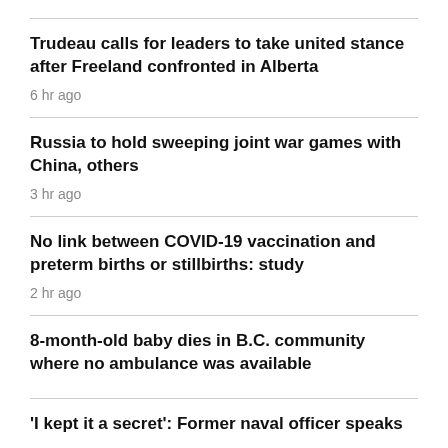Trudeau calls for leaders to take united stance after Freeland confronted in Alberta
6 hr ago
Russia to hold sweeping joint war games with China, others
3 hr ago
No link between COVID-19 vaccination and preterm births or stillbirths: study
2 hr ago
8-month-old baby dies in B.C. community where no ambulance was available
'I kept it a secret': Former naval officer speaks